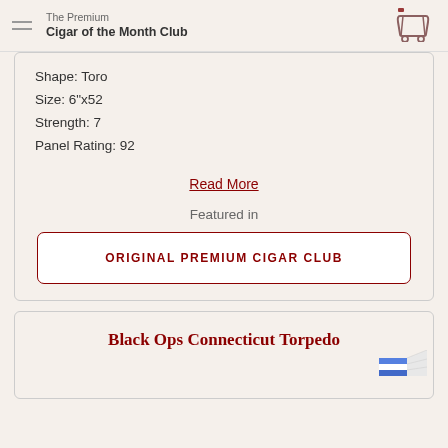The Premium Cigar of the Month Club
Shape: Toro
Size: 6"x52
Strength: 7
Panel Rating: 92
Read More
Featured in
ORIGINAL PREMIUM CIGAR CLUB
Black Ops Connecticut Torpedo